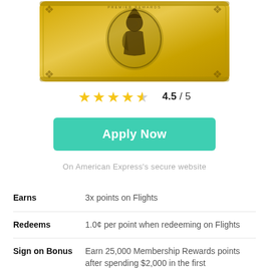[Figure (illustration): Gold American Express Premier Rewards credit card with centurion figure in oval medallion on gold metallic background]
4.5 / 5
Apply Now
On American Express's secure website
|  |  |
| --- | --- |
| Earns | 3x points on Flights |
| Redeems | 1.0¢ per point when redeeming on Flights |
| Sign on Bonus | Earn 25,000 Membership Rewards points after spending $2,000 in the first |